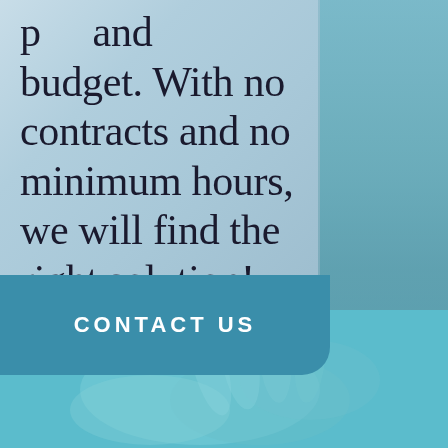p... and budget. With no contracts and no minimum hours, we will find the right solution!
[Figure (illustration): Light blue gradient background box with partial text visible at top, and a teal/cyan background with hands visible in the lower portion of the page]
CONTACT US